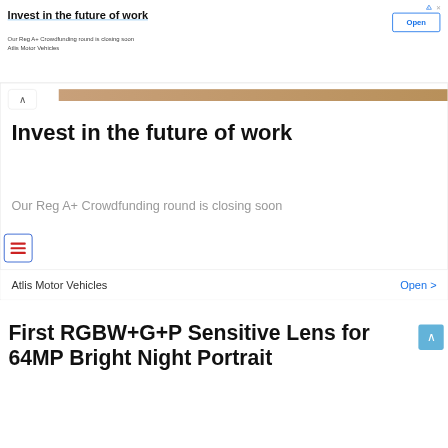Invest in the future of work
Our Reg A+ Crowdfunding round is closing soon
Atlis Motor Vehicles
[Figure (screenshot): Open button in blue outlined rectangle]
[Figure (screenshot): Expanded ad panel with collapse arrow button, tan/brown decorative stripe, large headline 'Invest in the future of work', subtext 'Our Reg A+ Crowdfunding round is closing soon', hamburger menu icon, and bottom bar with 'Atlis Motor Vehicles' and 'Open >' link]
First RGBW+G+P Sensitive Lens for 64MP Bright Night Portrait